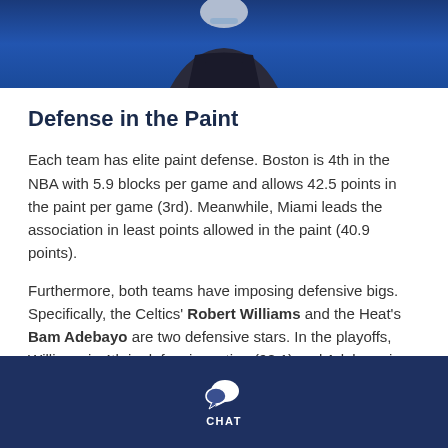[Figure (photo): Basketball or football player in uniform against a blue background, shown from chest up with helmet]
Defense in the Paint
Each team has elite paint defense. Boston is 4th in the NBA with 5.9 blocks per game and allows 42.5 points in the paint per game (3rd). Meanwhile, Miami leads the association in least points allowed in the paint (40.9 points).
Furthermore, both teams have imposing defensive bigs. Specifically, the Celtics' Robert Williams and the Heat's Bam Adebayo are two defensive stars. In the playoffs, Williams is 4th in defensive rating (98.1) and Adebayo is 10th (100.7).
CHAT